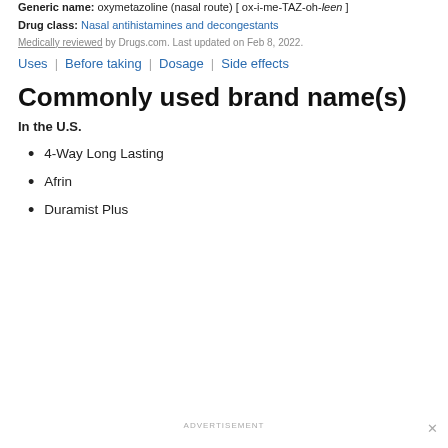Generic name: oxymetazoline (nasal route) [ ox-i-me-TAZ-oh-leen ]
Drug class: Nasal antihistamines and decongestants
Medically reviewed by Drugs.com. Last updated on Feb 8, 2022.
Uses | Before taking | Dosage | Side effects
Commonly used brand name(s)
In the U.S.
4-Way Long Lasting
Afrin
Duramist Plus
ADVERTISEMENT